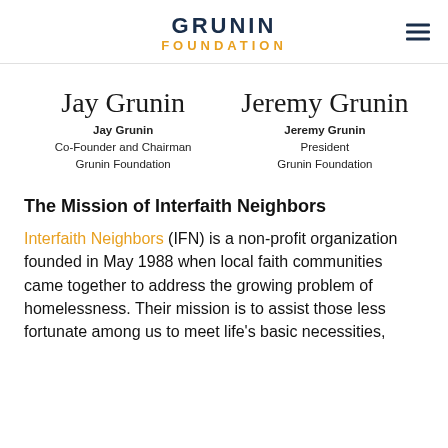GRUNIN FOUNDATION
[Figure (illustration): Jay Grunin cursive signature]
Jay Grunin
Co-Founder and Chairman
Grunin Foundation
[Figure (illustration): Jeremy Grunin cursive signature]
Jeremy Grunin
President
Grunin Foundation
The Mission of Interfaith Neighbors
Interfaith Neighbors (IFN) is a non-profit organization founded in May 1988 when local faith communities came together to address the growing problem of homelessness. Their mission is to assist those less fortunate among us to meet life's basic necessities,